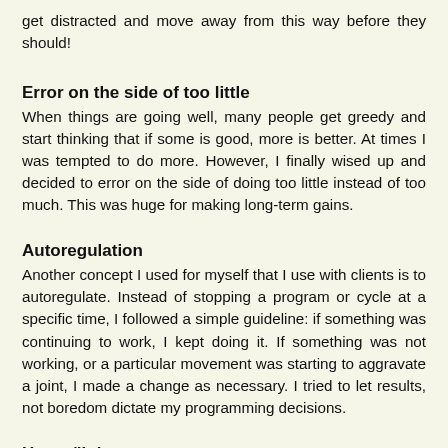get distracted and move away from this way before they should!
Error on the side of too little
When things are going well, many people get greedy and start thinking that if some is good, more is better. At times I was tempted to do more. However, I finally wised up and decided to error on the side of doing too little instead of too much. This was huge for making long-term gains.
Autoregulation
Another concept I used for myself that I use with clients is to autoregulate. Instead of stopping a program or cycle at a specific time, I followed a simple guideline: if something was continuing to work, I kept doing it. If something was not working, or a particular movement was starting to aggravate a joint, I made a change as necessary. I tried to let results, not boredom dictate my programming decisions.
Heavy/light
While I'm not married to any one particular training system, one I really find helpful for older lifters or those with a lot of